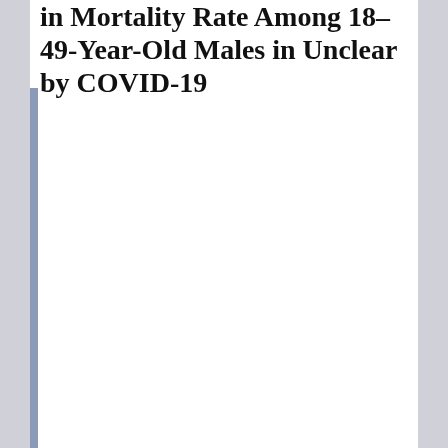in Mortality Rate Among 18–49-Year-Old Males in Unclear by COVID-19